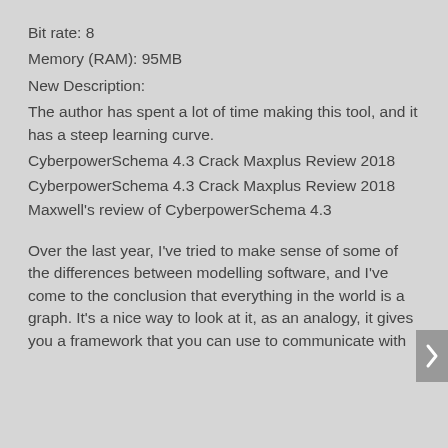Bit rate: 8
Memory (RAM): 95MB
New Description:
The author has spent a lot of time making this tool, and it has a steep learning curve.
CyberpowerSchema 4.3 Crack Maxplus Review 2018
CyberpowerSchema 4.3 Crack Maxplus Review 2018
Maxwell's review of CyberpowerSchema 4.3
Over the last year, I've tried to make sense of some of the differences between modelling software, and I've come to the conclusion that everything in the world is a graph. It's a nice way to look at it, as an analogy, it gives you a framework that you can use to communicate with